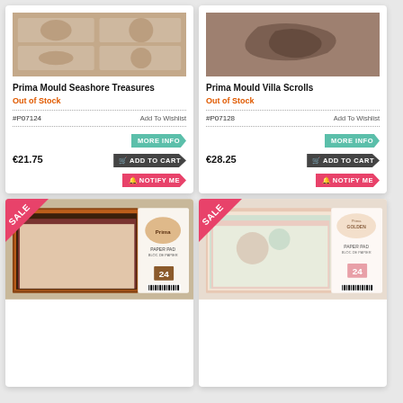[Figure (photo): Prima Mould Seashore Treasures product image - brown mould with shells and seahorse designs]
Prima Mould Seashore Treasures
Out of Stock
#P07124  Add To Wishlist
€21.75  MORE INFO  ADD TO CART  NOTIFY ME
[Figure (photo): Prima Mould Villa Scrolls product image - dark brown mould with scroll designs]
Prima Mould Villa Scrolls
Out of Stock
#P07128  Add To Wishlist
€28.25  MORE INFO  ADD TO CART  NOTIFY ME
[Figure (photo): SALE - Prima paper pad with autumn/fall themed patterned papers, 24 sheets]
[Figure (photo): SALE - Prima Golden Girls paper pad with floral patterned papers, 24 sheets]